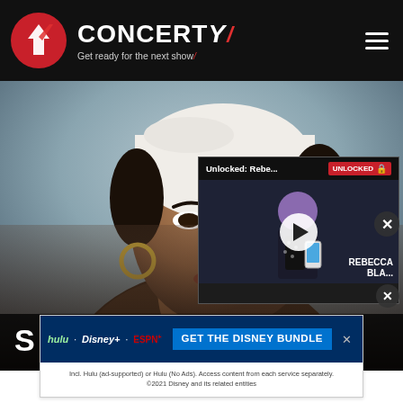CONCERTY — Get ready for the next show
[Figure (screenshot): Hero image of Snoh Aalegra — a woman with a white head wrap wearing gold hoop earrings, close-up portrait against a blurred outdoor background. Artist name 'SNOH AALEGRA' overlaid in large white bold text. A floating video player overlay shows 'Unlocked: Rebe...' with 'UNLOCKED' badge and a play button over a thumbnail of a woman holding a phone.]
[Figure (infographic): Disney Bundle advertisement banner showing hulu, Disney+, ESPN+ logos with text 'GET THE DISNEY BUNDLE'. Fine print: 'Incl. Hulu (ad-supported) or Hulu (No Ads). Access content from each service separately. ©2021 Disney and its related entities']